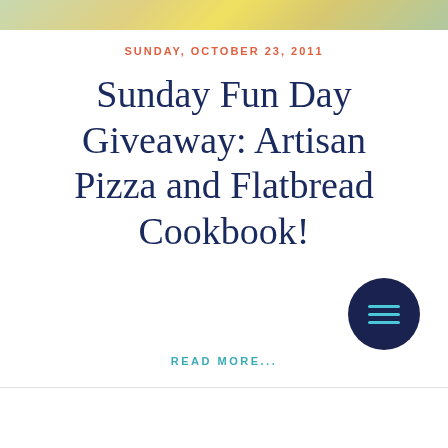[Figure (photo): Partial top image crop showing colorful wrapped items or packages, cropped at the top of the page]
SUNDAY, OCTOBER 23, 2011
Sunday Fun Day Giveaway: Artisan Pizza and Flatbread Cookbook!
READ MORE...
[Figure (other): Dark navy circular menu/hamburger button with three teal horizontal lines, positioned at bottom right]